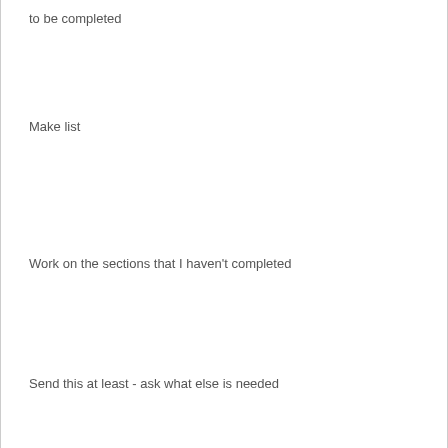to be completed
Make list
Work on the sections that I haven't completed
Send this at least - ask what else is needed